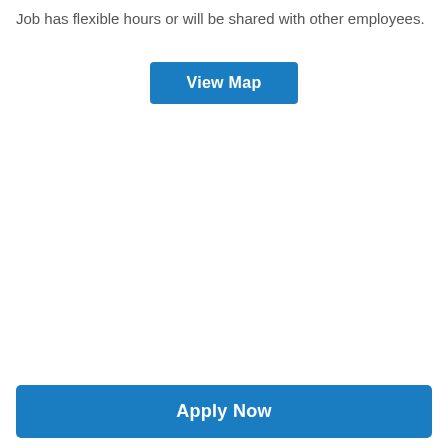Job has flexible hours or will be shared with other employees.
[Figure (other): Blue 'View Map' button]
[Figure (other): Blue 'Apply Now' button spanning full width at bottom]